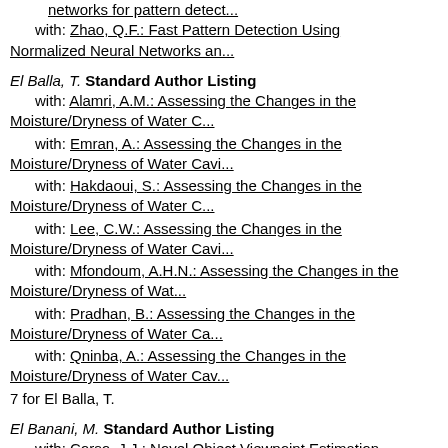with: Zhao, Q.F.: Fast Pattern Detection Using Normalized Neural Networks an...
El Balla, T. Standard Author Listing
with: Alamri, A.M.: Assessing the Changes in the Moisture/Dryness of Water C...
with: Emran, A.: Assessing the Changes in the Moisture/Dryness of Water Cavi...
with: Hakdaoui, S.: Assessing the Changes in the Moisture/Dryness of Water C...
with: Lee, C.W.: Assessing the Changes in the Moisture/Dryness of Water Cavi...
with: Mfondoum, A.H.N.: Assessing the Changes in the Moisture/Dryness of Wat...
with: Pradhan, B.: Assessing the Changes in the Moisture/Dryness of Water Ca...
with: Qninba, A.: Assessing the Changes in the Moisture/Dryness of Water Cav...
7 for El Balla, T.
El Banani, M. Standard Author Listing
with: Corso, J.J.: Novel Object Viewpoint Estimation Through Reconstruction ...
with: Fouhey, D.F.: Novel Object Viewpoint Estimation Through Reconstruction